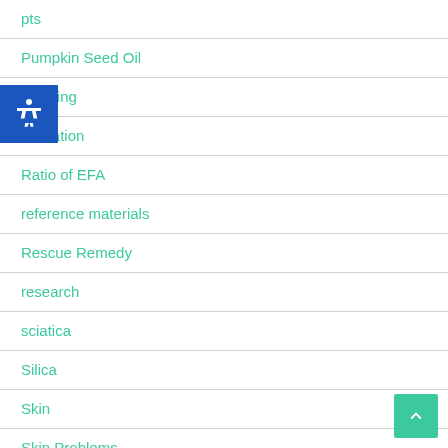pts
Pumpkin Seed Oil
smoking
Radiation
Ratio of EFA
reference materials
Rescue Remedy
research
sciatica
Silica
Skin
Skin Problems
sleep